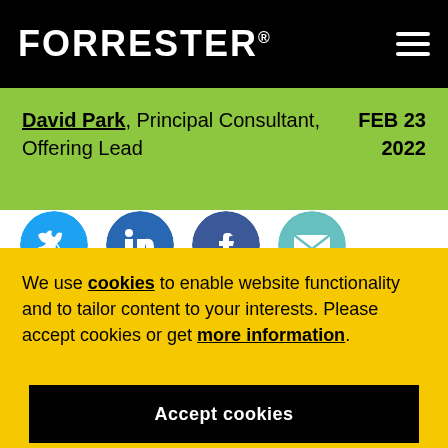FORRESTER®
David Park, Principal Consultant, Offering Lead    FEB 23 2022
[Figure (infographic): Four circular social media sharing icons: Twitter (blue), LinkedIn (dark blue), Facebook (dark blue/purple), Email (light teal/cyan)]
We use cookies to enable website functionality and to tailor content to your interests. Please accept cookies or get more information.
Accept cookies